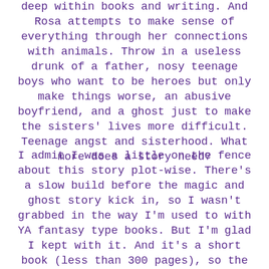deep within books and writing. And Rosa attempts to make sense of everything through her connections with animals. Throw in a useless drunk of a father, nosy teenage boys who want to be heroes but only make things worse, an abusive boyfriend, and a ghost just to make the sisters' lives more difficult. Teenage angst and sisterhood. What more does a story need?
I admit I was a little on the fence about this story plot-wise. There's a slow build before the magic and ghost story kick in, so I wasn't grabbed in the way I'm used to with YA fantasy type books. But I'm glad I kept with it. And it's a short book (less than 300 pages), so the wait for weird wasn't really that long. It gave the characters a chance to shine on their own before everything else could distract from them. I